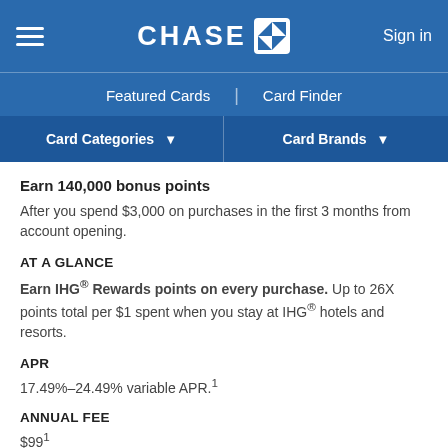CHASE | Sign in
Featured Cards | Card Finder
Card Categories | Card Brands
Earn 140,000 bonus points After you spend $3,000 on purchases in the first 3 months from account opening.
AT A GLANCE
Earn IHG® Rewards points on every purchase. Up to 26X points total per $1 spent when you stay at IHG® hotels and resorts.
APR
17.49%–24.49% variable APR.1
ANNUAL FEE
$991